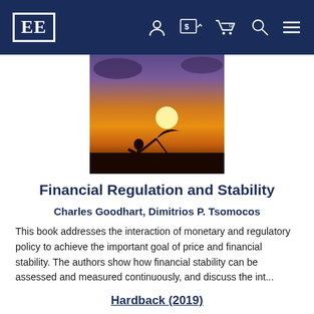EE [logo] navigation bar with account, currency, cart, search, and menu icons
[Figure (photo): Book cover photo: silhouette of a person holding an umbrella against a dramatic orange sunset sky]
Financial Regulation and Stability
Charles Goodhart, Dimitrios P. Tsomocos
This book addresses the interaction of monetary and regulatory policy to achieve the important goal of price and financial stability. The authors show how financial stability can be assessed and measured continuously, and discuss the int...
Hardback (2019)